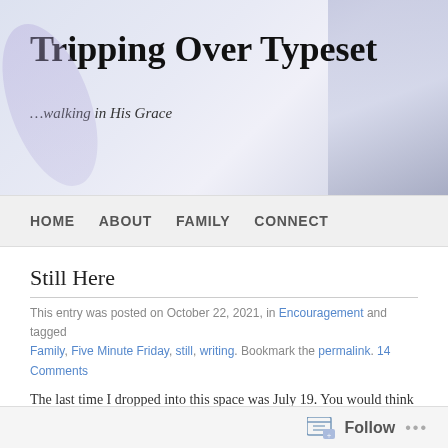Tripping Over Typeset
…walking in His Grace
HOME  ABOUT  FAMILY  CONNECT
Still Here
This entry was posted on October 22, 2021, in Encouragement and tagged Family, Five Minute Friday, still, writing. Bookmark the permalink. 14 Comments
The last time I dropped into this space was July 19. You would think for a writer this would be a problem. It is.
All good writers will tell you writers write.
Keep your bum in the seat and write
Write everyday
Follow  ...